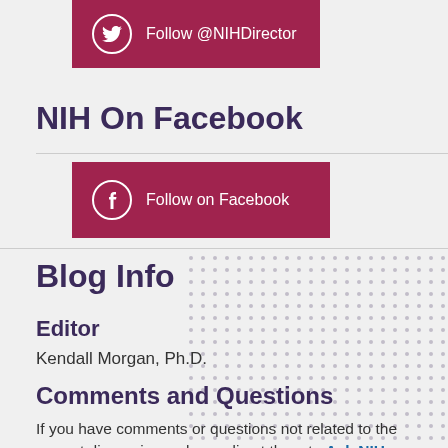[Figure (other): Twitter follow button with Twitter bird icon in a circle, text 'Follow @NIHDirector' on dark pink/crimson background]
NIH On Facebook
[Figure (other): Facebook follow button with Facebook 'f' icon in a circle, text 'Follow on Facebook' on dark pink/crimson background]
Blog Info
Editor
Kendall Morgan, Ph.D.
Comments and Questions
If you have comments or questions not related to the current discussions, please direct them to Ask NIH.
You are encouraged to share your thoughts and ideas.